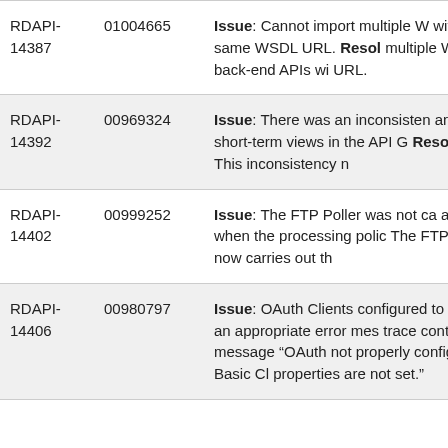| ID | Case Number | Description |
| --- | --- | --- |
| RDAPI-14387 | 01004665 | Issue: Cannot import multiple W... with the same WSDL URL. Resol... multiple WSDL back-end APIs wi... URL. |
| RDAPI-14392 | 00969324 | Issue: There was an inconsisten... and short-term views in the API G... Resolution: This inconsistency n... |
| RDAPI-14402 | 00999252 | Issue: The FTP Poller was not ca... action when the processing polic... The FTP Poller now carries out th... |
| RDAPI-14406 | 00980797 | Issue: OAuth Clients configured ... to trace an appropriate error mes... trace contains message "OAuth ... not properly configured. Basic Cl... properties are not set." |